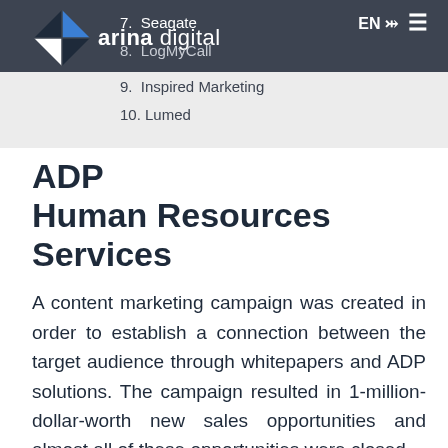arina digital — EN
7.  Seagate
8.  LogMyCall
9.  Inspired Marketing
10. Lumed
ADP
Human Resources Services
A content marketing campaign was created in order to establish a connection between the target audience through whitepapers and ADP solutions. The campaign resulted in 1-million-dollar-worth new sales opportunities and almost all of these opportunities were closed